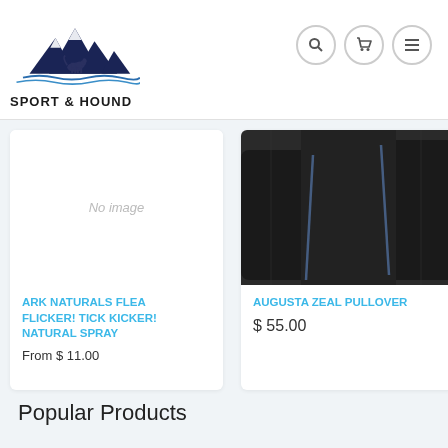[Figure (logo): Sport & Hound logo: mountain peaks with a hound dog silhouette and wavy water lines beneath, dark navy color]
[Figure (other): Navigation icons: search (magnifying glass), cart (shopping cart), menu (hamburger) — circular bordered buttons]
[Figure (photo): Product card left: No image placeholder text in light gray italic on white background]
ARK NATURALS FLEA FLICKER! TICK KICKER! NATURAL SPRAY
From $ 11.00
[Figure (photo): Product card right: Black pullover jacket photo showing sleeve and body detail]
AUGUSTA ZEAL PULLOVER
$ 55.00
Popular Products